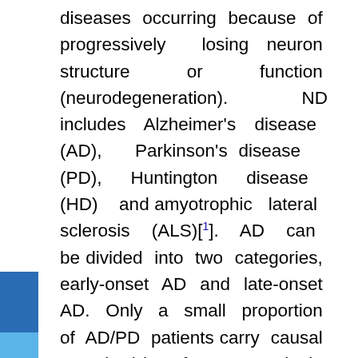diseases occurring because of progressively losing neuron structure or function (neurodegeneration). ND includes Alzheimer's disease (AD), Parkinson's disease (PD), Huntington disease (HD) and amyotrophic lateral sclerosis (ALS)[1]. AD can be divided into two categories, early-onset AD and late-onset AD. Only a small proportion of AD/PD patients carry causal mutation(s) of some single gene. For most patients, AD/PD is caused by combined effects of genetic factor (multiple genes) and environmental triggers (common disease). Late-onset AD (LOAD, or sporadic AD) and late-onset PD (LOPD, or called sporadic PD) are typically such kinds of common diseases[2]. Traditional Chinese medicine (TCM) can protect and improve the brain, memory, and nervous